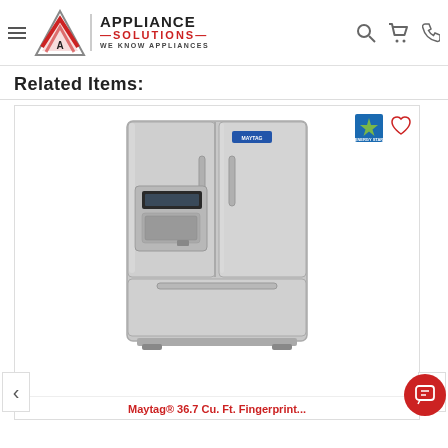Appliance Solutions — We Know Appliances
Related Items:
[Figure (photo): Maytag stainless steel French door refrigerator with bottom freezer and door ice/water dispenser, shown with Energy Star badge and heart/wishlist icon]
Maytag® 36.7 Cu. Ft. Fingerprint...